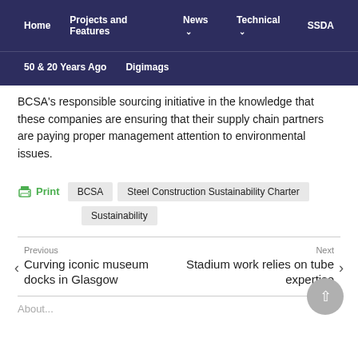Home  Projects and Features  News  Technical  SSDA  50 & 20 Years Ago  Digimags
BCSA's responsible sourcing initiative in the knowledge that these companies are ensuring that their supply chain partners are paying proper management attention to environmental issues.
Print  BCSA  Steel Construction Sustainability Charter  Sustainability
Previous  Curving iconic museum docks in Glasgow
Next  Stadium work relies on tube expertise